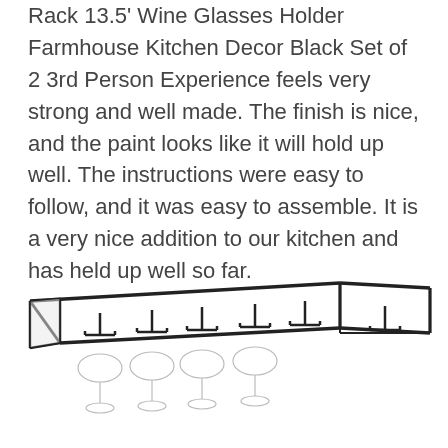Rack 13.5' Wine Glasses Holder Farmhouse Kitchen Decor Black Set of 2 3rd Person Experience feels very strong and well made. The finish is nice, and the paint looks like it will hold up well. The instructions were easy to follow, and it was easy to assemble. It is a very nice addition to our kitchen and has held up well so far.
[Figure (illustration): Line drawing illustration of a wine glass rack (hanging rack) shown in perspective view, with multiple glass holders visible. The rack is rendered in black outlines on white background, showing the structural frame and individual glass hanging slots.]